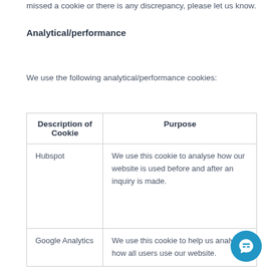missed a cookie or there is any discrepancy, please let us know.
Analytical/performance
We use the following analytical/performance cookies:
| Description of Cookie | Purpose |
| --- | --- |
| Hubspot | We use this cookie to analyse how our website is used before and after an inquiry is made. |
| Google Analytics | We use this cookie to help us analyse how all users use our website. |